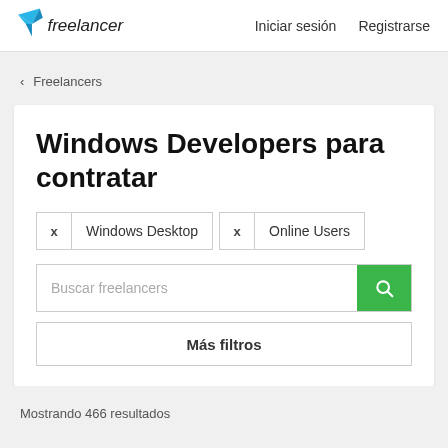Freelancer | Iniciar sesión | Registrarse
‹ Freelancers
Windows Developers para contratar
✕ Windows Desktop  ✕ Online Users
Buscar freelancers
Más filtros
Mostrando 466 resultados